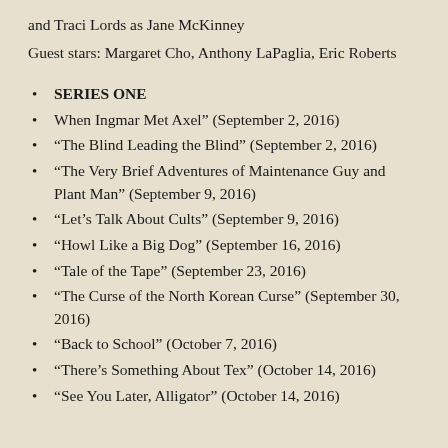and Traci Lords as Jane McKinney
Guest stars: Margaret Cho, Anthony LaPaglia, Eric Roberts
SERIES ONE
When Ingmar Met Axel” (September 2, 2016)
“The Blind Leading the Blind” (September 2, 2016)
“The Very Brief Adventures of Maintenance Guy and Plant Man” (September 9, 2016)
“Let’s Talk About Cults” (September 9, 2016)
“Howl Like a Big Dog” (September 16, 2016)
“Tale of the Tape” (September 23, 2016)
“The Curse of the North Korean Curse” (September 30, 2016)
“Back to School” (October 7, 2016)
“There’s Something About Tex” (October 14, 2016)
“See You Later, Alligator” (October 14, 2016)